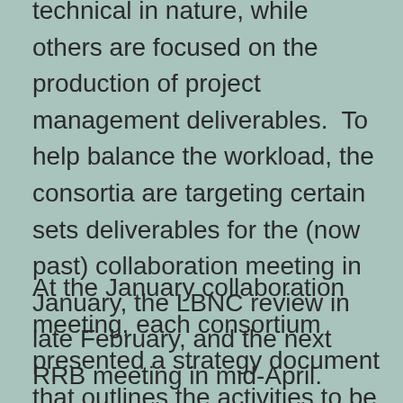technical in nature, while others are focused on the production of project management deliverables.  To help balance the workload, the consortia are targeting certain sets deliverables for the (now past) collaboration meeting in January, the LBNC review in late February, and the next RRB meeting in mid-April.
At the January collaboration meeting, each consortium presented a strategy document that outlines the activities to be completed and the technical decisions to be made over the next year in advance of the Technical Design